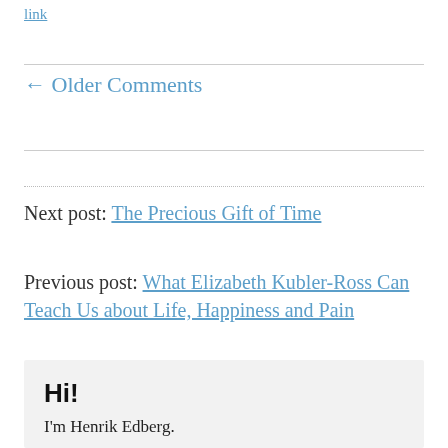link
← Older Comments
Next post: The Precious Gift of Time
Previous post: What Elizabeth Kubler-Ross Can Teach Us about Life, Happiness and Pain
Hi!
I'm Henrik Edberg.